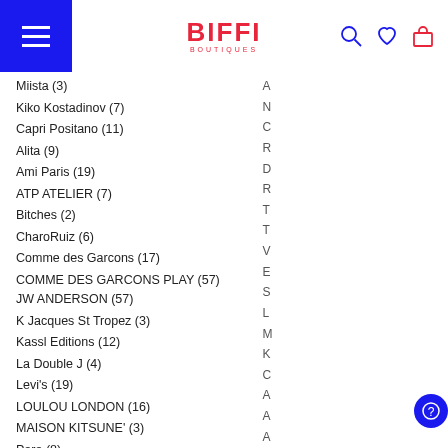BIFFI BOUTIQUES
Miista (3)
Kiko Kostadinov (7)
Capri Positano (11)
Alita (9)
Ami Paris (19)
ATP ATELIER (7)
Bitches (2)
CharoRuiz (6)
Comme des Garcons (17)
COMME DES GARCONS PLAY (57)
JW ANDERSON (57)
K Jacques St Tropez (3)
Kassl Editions (12)
La Double J (4)
Levi's (19)
LOULOU LONDON (16)
MAISON KITSUNE' (3)
Pero (8)
Pierre Louis Mascia (1)
TIZIANO GUARDINI x BIFFI BOUTIQUES (1)
UGG Australia (5)
Moschino (3)
PURA UTZ (1)